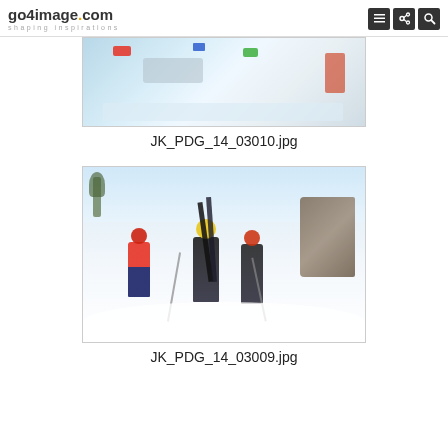go4image.com shaping inspirations
[Figure (photo): Aerial/overhead view of skiers on a snowy mountain slope with colorful equipment visible]
JK_PDG_14_03010.jpg
[Figure (photo): Group of ski mountaineers climbing a steep snowy mountain carrying skis on their backs, wearing colorful helmets and gear]
JK_PDG_14_03009.jpg